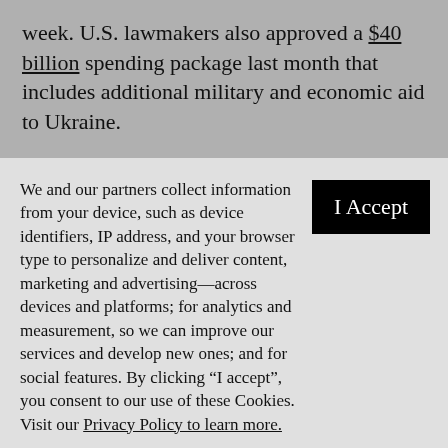week. U.S. lawmakers also approved a $40 billion spending package last month that includes additional military and economic aid to Ukraine.
We and our partners collect information from your device, such as device identifiers, IP address, and your browser type to personalize and deliver content, marketing and advertising—across devices and platforms; for analytics and measurement, so we can improve our services and develop new ones; and for social features. By clicking “I accept”, you consent to our use of these Cookies. Visit our Privacy Policy to learn more.
YOUR USE OF THIS SITE SIGNIFIES YOUR AGREEMENT TO THIS PRIVACY POLICY.